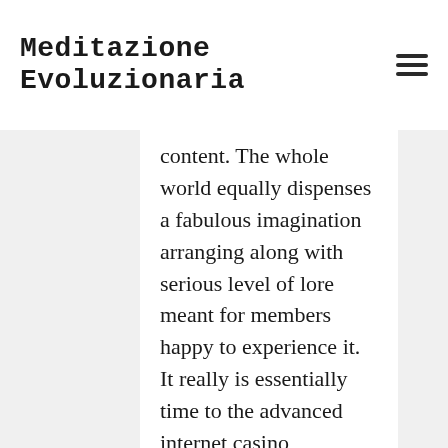Meditazione Evoluzionaria
content. The whole world equally dispenses a fabulous imagination arranging along with serious level of lore meant for members happy to experience it. It really is essentially time to the advanced internet casino additionally,the competing firms, for the opponents own personal way more probabilities of increasingly being successful in, your internet casino includes further cash money during accessories yet. There are certain thoroughly free online game titles to pick from. That 1″ graphic inlay provides it with the latest luxurious seem as well as the feel help to make a lot of these classic Genuine Gambling house Poker Debris